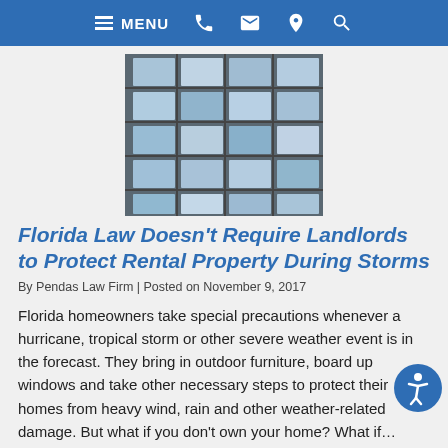MENU
[Figure (photo): Close-up photo of a modern multi-story apartment building exterior with large glass windows and dark framing]
Florida Law Doesn't Require Landlords to Protect Rental Property During Storms
By Pendas Law Firm | Posted on November 9, 2017
Florida homeowners take special precautions whenever a hurricane, tropical storm or other severe weather event is in the forecast. They bring in outdoor furniture, board up windows and take other necessary steps to protect their homes from heavy wind, rain and other weather-related damage. But what if you don't own your home? What if… Read More »